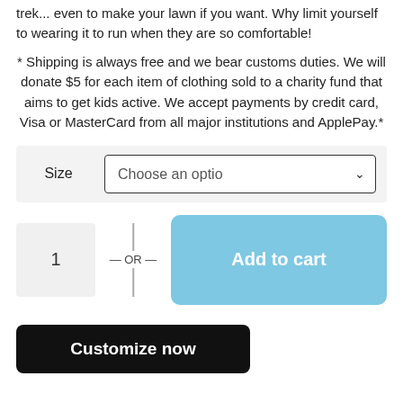trek... even to make your lawn if you want. Why limit yourself to wearing it to run when they are so comfortable!
* Shipping is always free and we bear customs duties. We will donate $5 for each item of clothing sold to a charity fund that aims to get kids active. We accept payments by credit card, Visa or MasterCard from all major institutions and ApplePay.*
[Figure (screenshot): Size dropdown selector with 'Choose an option' placeholder and dropdown arrow]
[Figure (screenshot): Quantity box showing '1', OR divider, and 'Add to cart' button in light blue]
[Figure (screenshot): Black 'Customize now' button]